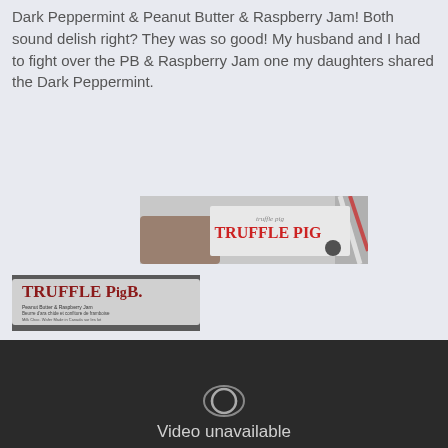Dark Peppermint & Peanut Butter & Raspberry Jam! Both sound delish right? They was so good! My husband and I had to fight over the PB & Raspberry Jam one my daughters shared the Dark Peppermint.
[Figure (photo): Hand holding a Truffle Pig chocolate bar wrapper, silver packaging with red text reading TRUFFLE PIG]
[Figure (photo): Truffle Pig PB&B Peanut Butter & Raspberry Jam chocolate bar wrapper close-up]
[Figure (other): Dark video player embed showing Video unavailable message with YouTube-style icon]